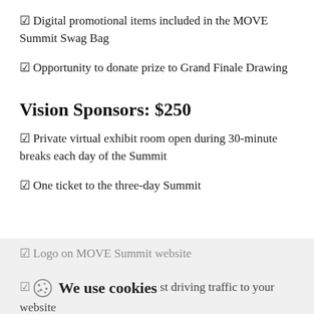✅ Digital promotional items included in the MOVE Summit Swag Bag
✅ Opportunity to donate prize to Grand Finale Drawing
Vision Sponsors: $250
✅ Private virtual exhibit room open during 30-minute breaks each day of the Summit
✅ One ticket to the three-day Summit
✅ Logo on MOVE Summit website
✅ One targeted ad...st driving traffic to your website
We use cookies